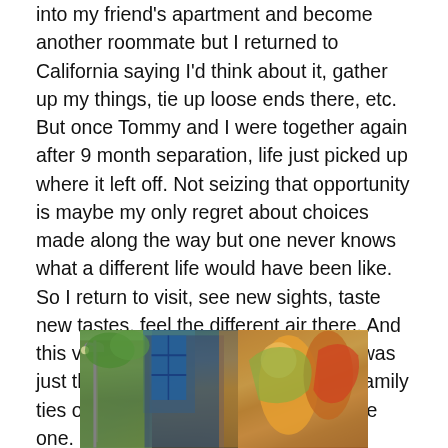into my friend's apartment and become another roommate but I returned to California saying I'd think about it, gather up my things, tie up loose ends there, etc. But once Tommy and I were together again after 9 month separation, life just picked up where it left off. Not seizing that opportunity is maybe my only regret about choices made along the way but one never knows what a different life would have been like. So I return to visit, see new sights, taste new tastes, feel the different air there. And this visit, the first with Tommy when it was just the two of us with no agendas or family ties or plans of any kind – was a unique one. Pure spontaneity and fun!
[Figure (photo): A street scene showing colorful murals painted on building walls, with a blue fire escape structure visible on the left side, a lamppost, and vibrant artwork featuring figures in yellows, greens, and oranges on the right side of the buildings.]